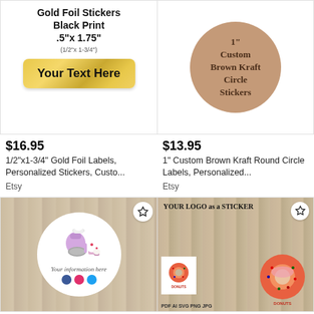[Figure (photo): Gold foil sticker product listing image showing 'Gold Foil Stickers Black Print .5"x1.75"' with a gold badge saying 'Your Text Here']
$16.95
1/2"x1-3/4" Gold Foil Labels, Personalized Stickers, Custo...
Etsy
[Figure (photo): 1 inch custom brown kraft circle sticker product listing image showing a light brown circle with text '1" Custom Brown Kraft Circle Stickers']
$13.95
1" Custom Brown Kraft Round Circle Labels, Personalized...
Etsy
[Figure (photo): Round sticker with baking theme on wood background showing a mixer, cupcakes, and text 'Your information here' with social media icons]
[Figure (photo): Donut logo sticker product with text 'YOUR LOGO as a STICKER' and 'PDF AI SVG PNG JPG' showing donut illustrations]